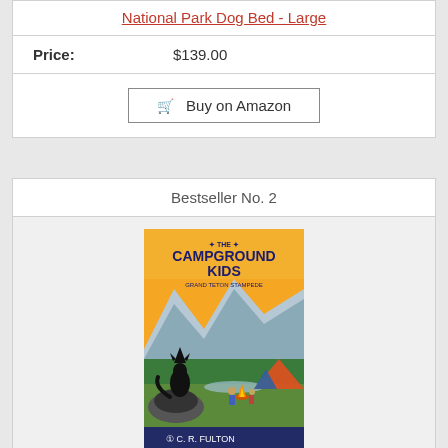National Park Dog Bed - Large
| Price: | $139.00 |
| --- | --- |
Buy on Amazon
Bestseller No. 2
[Figure (illustration): Book cover for 'The Campground Kids: Grand Teton Stampede' by C.R. Fulton. Features a black wolf howling on a rock, mountains in background, and children camping with a colorful tent.]
Grand Teton Stampede (The Campground Kids: National Park Adventures)